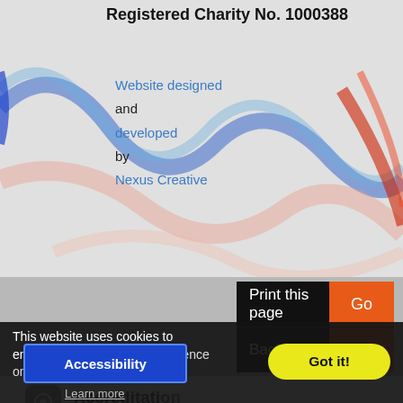Registered Charity No. 1000388
Website designed and developed by Nexus Creative
[Figure (screenshot): Decorative swirling ribbon graphic in blue, pink, and red tones on a light grey background]
Print this page  Go
Back to top  Go
[Figure (screenshot): Small grey rounded square icon with a circular symbol]
Accreditation (partially visible)
This website uses cookies to ensure you get the best experience on our website.
Learn more
Accessibility
Got it!